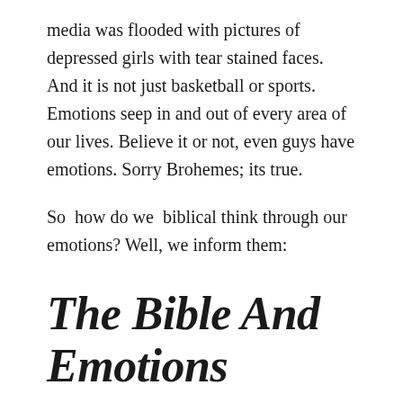media was flooded with pictures of depressed girls with tear stained faces. And it is not just basketball or sports. Emotions seep in and out of every area of our lives. Believe it or not, even guys have emotions. Sorry Brohemes; its true.
So  how do we  biblical think through our emotions? Well, we inform them:
The Bible And Emotions
According to the scriptures, emotions flow from